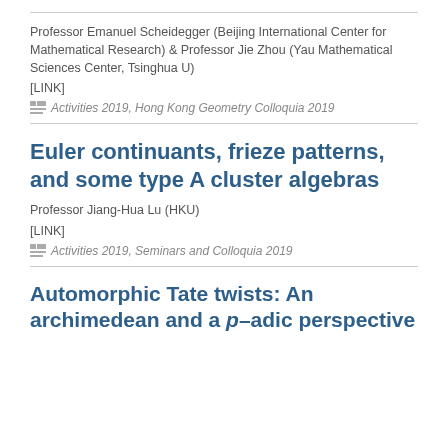Professor Emanuel Scheidegger (Beijing International Center for Mathematical Research) & Professor Jie Zhou (Yau Mathematical Sciences Center, Tsinghua U)
[LINK]
Activities 2019, Hong Kong Geometry Colloquia 2019
Euler continuants, frieze patterns, and some type A cluster algebras
Professor Jiang-Hua Lu (HKU)
[LINK]
Activities 2019, Seminars and Colloquia 2019
Automorphic Tate twists: An archimedean and a p–adic perspective